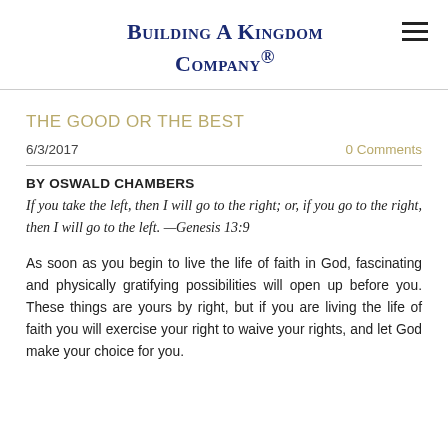Building A Kingdom Company®
THE GOOD OR THE BEST
6/3/2017    0 Comments
BY OSWALD CHAMBERS
If you take the left, then I will go to the right; or, if you go to the right, then I will go to the left. —Genesis 13:9
As soon as you begin to live the life of faith in God, fascinating and physically gratifying possibilities will open up before you. These things are yours by right, but if you are living the life of faith you will exercise your right to waive your rights, and let God make your choice for you.